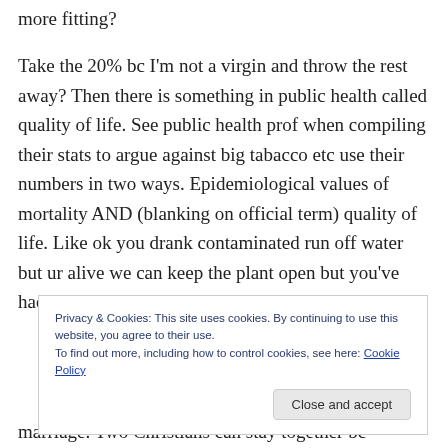more fitting?
Take the 20% bc I'm not a virgin and throw the rest away? Then there is something in public health called quality of life. See public health prof when compiling their stats to argue against big tabacco etc use their numbers in two ways. Epidemiological values of mortality AND (blanking on official term) quality of life. Like ok you drank contaminated run off water but ur alive we can keep the plant open but you've had 3
Privacy & Cookies: This site uses cookies. By continuing to use this website, you agree to their use.
To find out more, including how to control cookies, see here: Cookie Policy
marriage. Two Christians can stay together bc